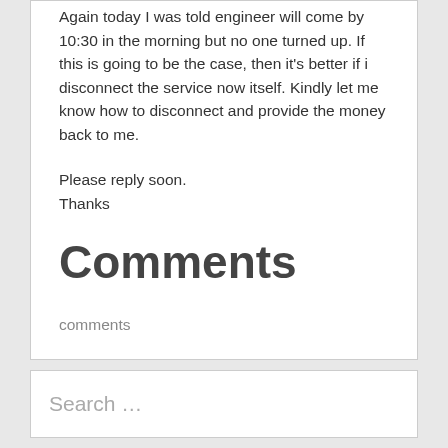Again today I was told engineer will come by 10:30 in the morning but no one turned up. If this is going to be the case, then it's better if i disconnect the service now itself. Kindly let me know how to disconnect and provide the money back to me.
Please reply soon.
Thanks
Comments
comments
Search …